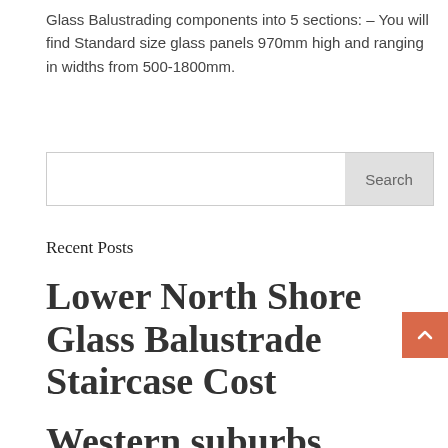Glass Balustrading components into 5 sections: – You will find Standard size glass panels 970mm high and ranging in widths from 500-1800mm.
[Figure (other): Search input box with Search button]
Recent Posts
Lower North Shore Glass Balustrade Staircase Cost
Western suburbs...